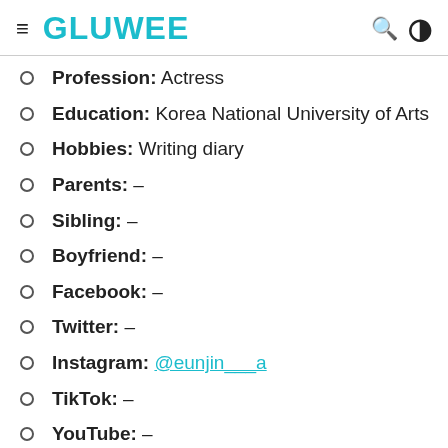≡ GLUWEE 🔍 )
Profession: Actress
Education: Korea National University of Arts
Hobbies: Writing diary
Parents: –
Sibling: –
Boyfriend: –
Facebook: –
Twitter: –
Instagram: @eunjin___a
TikTok: –
YouTube: –
Facts